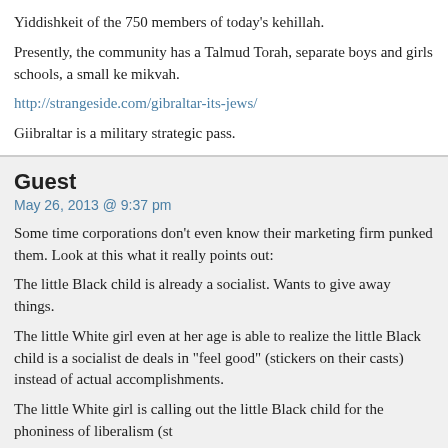Yiddishkeit of the 750 members of today's kehillah.
Presently, the community has a Talmud Torah, separate boys and girls schools, a small ke... mikvah.
http://strangeside.com/gibraltar-its-jews/
Giibraltar is a military strategic pass.
Guest
May 26, 2013 @ 9:37 pm
Some time corporations don't even know their marketing firm punked them. Look at this... what it really points out:
The little Black child is already a socialist. Wants to give away things.
The little White girl even at her age is able to realize the little Black child is a socialist de... deals in "feel good" (stickers on their casts) instead of actual accomplishments.
The little White girl is calling out the little Black child for the phoniness of liberalism (st...
http://www.youtube.com/watch?v=HFoNS-iAnLo
Hoff...